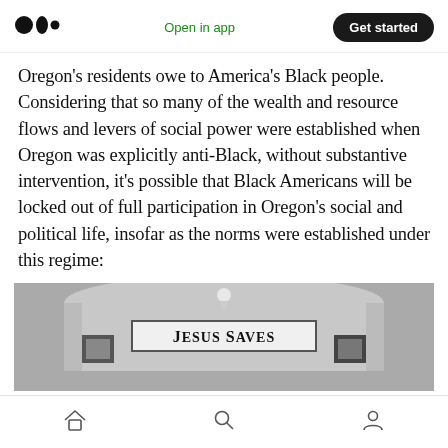Medium app header — Open in app | Get started
Oregon's residents owe to America's Black people. Considering that so many of the wealth and resource flows and levers of social power were established when Oregon was explicitly anti-Black, without substantive intervention, it's possible that Black Americans will be locked out of full participation in Oregon's social and political life, insofar as the norms were established under this regime:
[Figure (photo): Black and white photograph of a building or sign reading 'JESUS SAVES']
Mobile navigation bar with home, search, and profile icons